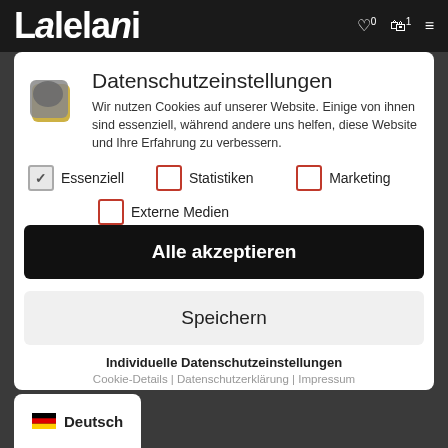[Figure (screenshot): Website header with logo text 'Lalelani' and navigation icons on dark background]
Datenschutzeinstellungen
Wir nutzen Cookies auf unserer Website. Einige von ihnen sind essenziell, während andere uns helfen, diese Website und Ihre Erfahrung zu verbessern.
Essenziell (checked)
Statistiken (unchecked)
Marketing (unchecked)
Externe Medien (unchecked)
Alle akzeptieren
Speichern
Individuelle Datenschutzeinstellungen
Cookie-Details | Datenschutzerklärung | Impressum
Deutsch